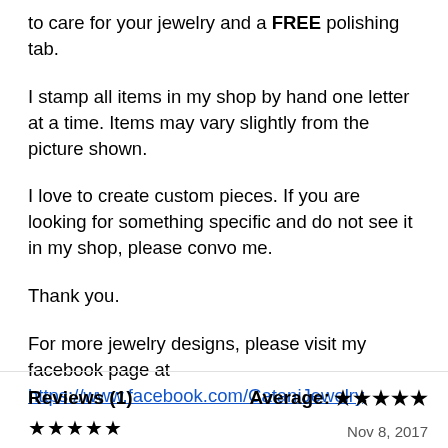to care for your jewelry and a FREE polishing tab.
I stamp all items in my shop by hand one letter at a time. Items may vary slightly from the picture shown.
I love to create custom pieces. If you are looking for something specific and do not see it in my shop, please convo me.
Thank you.
For more jewelry designs, please visit my facebook page at https://www.facebook.com/CataniJewelry.
Reviews (1)   Average: ★★★★★